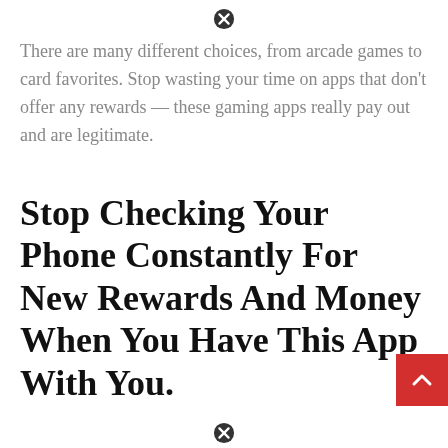There are many different choices, from arcade games to card favorites. Stop wasting your time on apps that don't offer any rewards — these gaming apps really pay out and are legitimate.
Stop Checking Your Phone Constantly For New Rewards And Money When You Have This App With You.
Gift cards are another popular redemption option for the largest retail and restaurant brands. This game app is trending now in the us and canada. Big time cash is a mobile application that allows you to play 19 games and earn tickets that can be entered into prize draws.